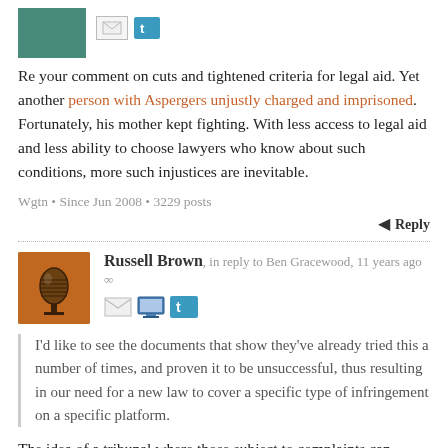[Figure (photo): Partial avatar image of a person with teal/green background, partially cropped at top]
Re your comment on cuts and tightened criteria for legal aid. Yet another person with Aspergers unjustly charged and imprisoned. Fortunately, his mother kept fighting. With less access to legal aid and less ability to choose lawyers who know about such conditions, more such injustices are inevitable.
Wgtn • Since Jun 2008 • 3229 posts
Reply
[Figure (photo): Avatar of Russell Brown showing a vintage microphone on orange background]
Russell Brown, in reply to Ben Gracewood, 11 years ago
I'd like to see the documents that show they've already tried this a number of times, and proven it to be unsuccessful, thus resulting in our need for a new law to cover a specific type of infringement on a specific platform.
The idea of a tribunal where those subject to complaints can challenge them was actually